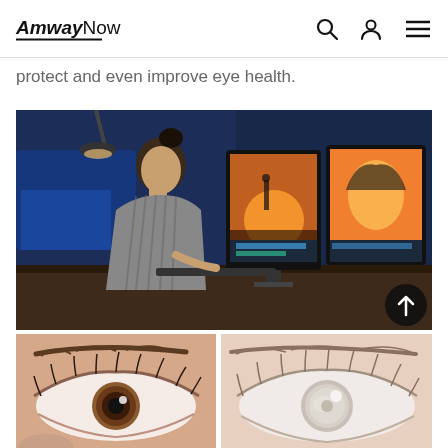AmwayNow
protect and even improve eye health.
[Figure (photo): Woman working at a computer workstation with dual monitors showing video editing software, in a dark office environment]
[Figure (photo): Close-up of a healthy human eye (left)]
[Figure (photo): Close-up of a human eye with a cloudy/cataract appearance (right)]